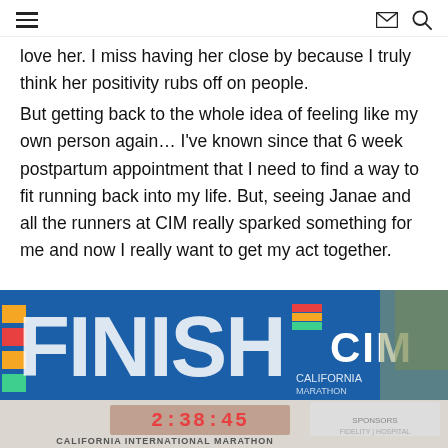navigation header with hamburger menu, envelope icon, and search icon
love her. I miss having her close by because I truly think her positivity rubs off on people.
But getting back to the whole idea of feeling like my own person again… I've known since that 6 week postpartum appointment that I need to find a way to fit running back into my life. But, seeing Janae and all the runners at CIM really sparked something for me and now I really want to get my act together.
[Figure (photo): Photo of the CIM (California International Marathon) finish line banner with large letters spelling FINISH and a CIM logo sign. Below shows a partial scoreboard with time 2:38:45 and text CALIFORNIA INTERNATIONAL MARATHON.]